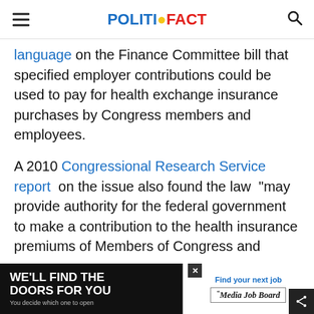POLITIFACT
language on the Finance Committee bill that specified employer contributions could be used to pay for health exchange insurance purchases by Congress members and employees.
A 2010 Congressional Research Service report on the issue also found the law "may provide authority for the federal government to make a contribution to the health insurance premiums of Members of Congress and congressional
[Figure (infographic): Advertisement banner: 'WE'LL FIND THE DOORS FOR YOU - You decide which one to open' with Media Job Board logo and Find your next job button]